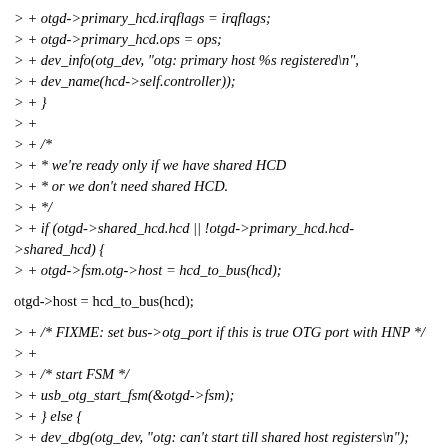> + otgd->primary_hcd.irqflags = irqflags;
> + otgd->primary_hcd.ops = ops;
> + dev_info(otg_dev, "otg: primary host %s registered\n",
> + dev_name(hcd->self.controller));
> + }
> +
> + /*
> + * we're ready only if we have shared HCD
> + * or we don't need shared HCD.
> + */
> + if (otgd->shared_hcd.hcd || !otgd->primary_hcd.hcd->shared_hcd) {
> + otgd->fsm.otg->host = hcd_to_bus(hcd);
otgd->host = hcd_to_bus(hcd);
> + /* FIXME: set bus->otg_port if this is true OTG port with HNP */
> +
> + /* start FSM */
> + usb_otg_start_fsm(&otgd->fsm);
> + } else {
> + dev_dbg(otg_dev, "otg: can't start till shared host registers\n");
> + }